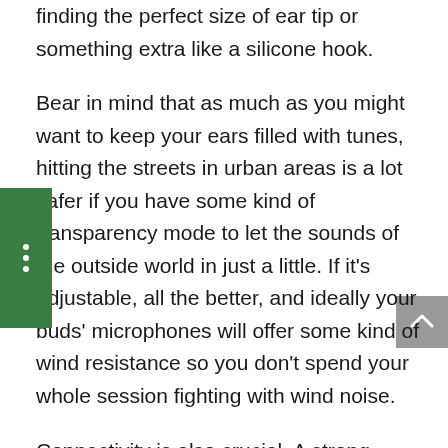finding the perfect size of ear tip or something extra like a silicone hook.
Bear in mind that as much as you might want to keep your ears filled with tunes, hitting the streets in urban areas is a lot safer if you have some kind of transparency mode to let the sounds of the outside world in just a little. If it's adjustable, all the better, and ideally your buds' microphones will offer some kind of wind resistance so you don't spend your whole session fighting with wind noise.
Connectivity is also crucial. A strong Bluetooth connection helps fight against distracting signal drop outs and gives you the option to place your